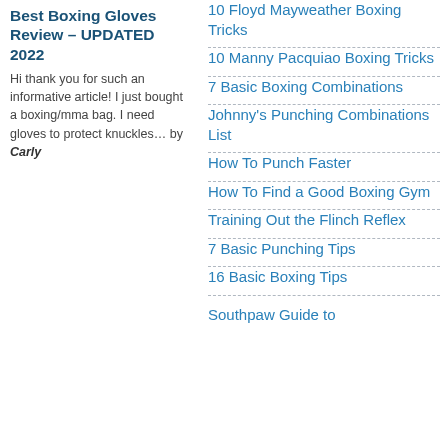Best Boxing Gloves Review – UPDATED 2022
Hi thank you for such an informative article! I just bought a boxing/mma bag. I need gloves to protect knuckles… by Carly
10 Floyd Mayweather Boxing Tricks
10 Manny Pacquiao Boxing Tricks
7 Basic Boxing Combinations
Johnny's Punching Combinations List
How To Punch Faster
How To Find a Good Boxing Gym
Training Out the Flinch Reflex
7 Basic Punching Tips
16 Basic Boxing Tips
Southpaw Guide to